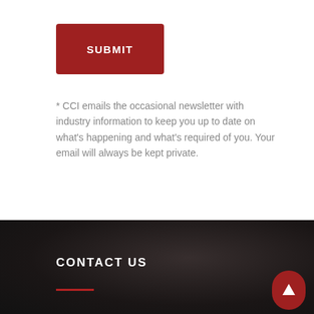[Figure (other): Red submit button with white uppercase text 'SUBMIT']
* CCI emails the occasional newsletter with industry information to keep you up to date on what's happening and what's required of you. Your email will always be kept private.
CONTACT US
[Figure (other): Red scroll-to-top button with white upward arrow]